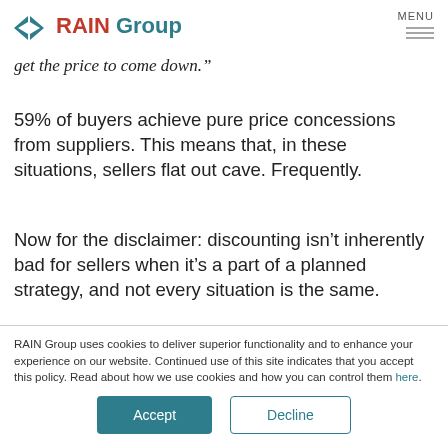RAIN Group
get the price to come down."
59% of buyers achieve pure price concessions from suppliers. This means that, in these situations, sellers flat out cave. Frequently.
Now for the disclaimer: discounting isn’t inherently bad for sellers when it’s a part of a planned strategy, and not every situation is the same.
RAIN Group uses cookies to deliver superior functionality and to enhance your experience on our website. Continued use of this site indicates that you accept this policy. Read about how we use cookies and how you can control them here.